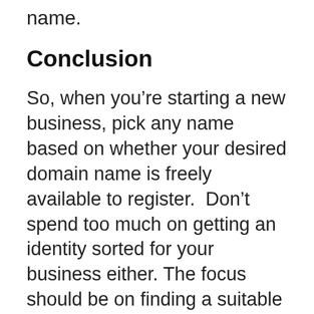name.
Conclusion
So, when you’re starting a new business, pick any name based on whether your desired domain name is freely available to register.  Don’t spend too much on getting an identity sorted for your business either. The focus should be on finding a suitable niche and positioning for your business and testing it.
You can have more than one niche, but